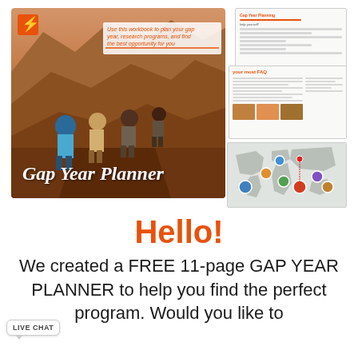[Figure (illustration): Gap Year Planner promotional image showing hikers on rocky terrain with 'Gap Year Planner' script text overlay, alongside stacked pages showing worksheets, FAQ pages, and a world map page.]
Hello!
We created a FREE 11-page GAP YEAR PLANNER to help you find the perfect program. Would you like to